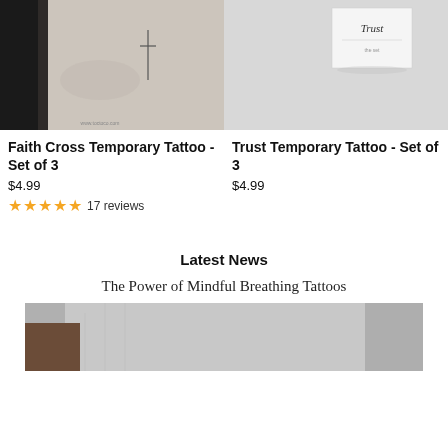[Figure (photo): Black and white photo of a small faith cross temporary tattoo on skin, with watermark www.toctoco.com]
Faith Cross Temporary Tattoo - Set of 3
$4.99
★★★★★ 17 reviews
[Figure (photo): Light grey background photo showing a white card/package labeled 'Trust' for a temporary tattoo set]
Trust Temporary Tattoo - Set of 3
$4.99
Latest News
The Power of Mindful Breathing Tattoos
[Figure (photo): Photo of a person wearing a cozy light grey sweater, cropped view of upper body/hands]